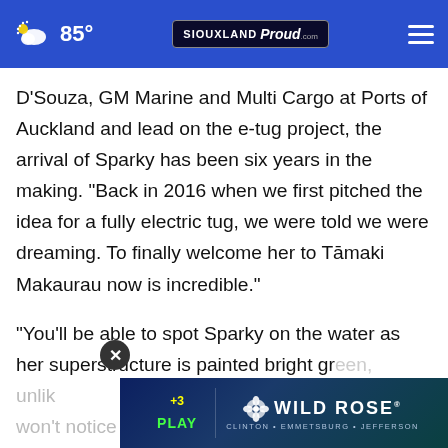85° | SIOUXLAND Proud
D'Souza, GM Marine and Multi Cargo at Ports of Auckland and lead on the e-tug project, the arrival of Sparky has been six years in the making. "Back in 2016 when we first pitched the idea for a fully electric tug, we were told we were dreaming. To finally welcome her to Tāmaki Makaurau now is incredible."
"You'll be able to spot Sparky on the water as her superstructure is painted bright gr[een,] unlik[e] [anything else — ]you won't notice is noise or smoke' being electric
[Figure (screenshot): Wild Rose casino advertisement banner with '+3 Play' logo on left and Wild Rose logo with flower on right, locations: Clinton • Emmetsburg • Jefferson]